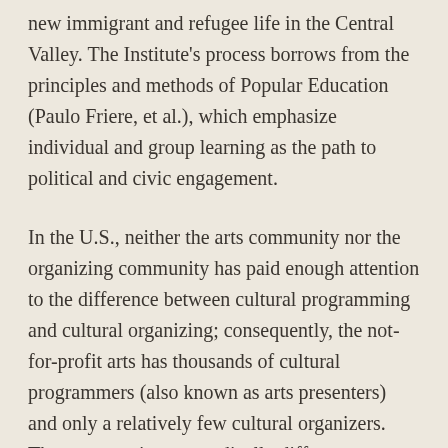new immigrant and refugee life in the Central Valley. The Institute's process borrows from the principles and methods of Popular Education (Paulo Friere, et al.), which emphasize individual and group learning as the path to political and civic engagement.
In the U.S., neither the arts community nor the organizing community has paid enough attention to the difference between cultural programming and cultural organizing; consequently, the not-for-profit arts has thousands of cultural programmers (also known as arts presenters) and only a relatively few cultural organizers. The two practices are radically different.
Cultural programmers believe that the opportunity for catharsis resides in the performance event, whereas cultural organizers